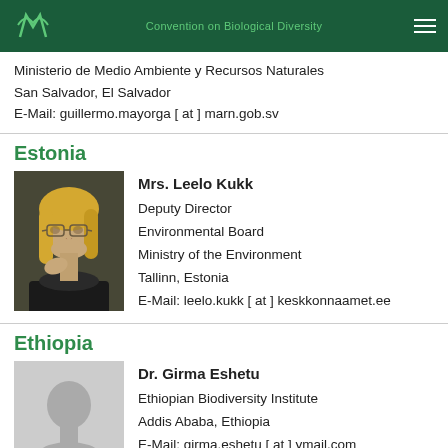Convention on Biological Diversity
Ministerio de Medio Ambiente y Recursos Naturales
San Salvador, El Salvador
E-Mail: guillermo.mayorga [ at ] marn.gob.sv
Estonia
[Figure (photo): Photo of Mrs. Leelo Kukk, a woman with blonde hair and glasses]
Mrs. Leelo Kukk
Deputy Director
Environmental Board
Ministry of the Environment
Tallinn, Estonia
E-Mail: leelo.kukk [ at ] keskkonnaamet.ee
Ethiopia
[Figure (photo): Placeholder silhouette photo for Dr. Girma Eshetu]
Dr. Girma Eshetu
Ethiopian Biodiversity Institute
Addis Ababa, Ethiopia
E-Mail: girma.eshetu [ at ] ymail.com
European Union